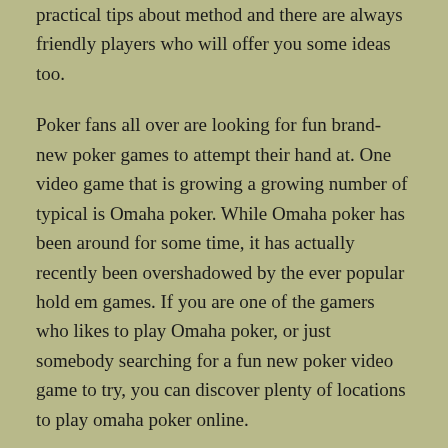practical tips about method and there are always friendly players who will offer you some ideas too.
Poker fans all over are looking for fun brand-new poker games to attempt their hand at. One video game that is growing a growing number of typical is Omaha poker. While Omaha poker has been around for some time, it has actually recently been overshadowed by the ever popular hold em games. If you are one of the gamers who likes to play Omaha poker, or just somebody searching for a fun new poker video game to try, you can discover plenty of locations to play omaha poker online.
These websites permit you to practice on the possibility capabilities, needed for winning poker. Some internet-based poker video gaming websites enable the amateurs to sign up with totally free poker rolls and bet a meager quantity of 1cent,.
When playing Omaha poker you are dealt out 4 cards personal